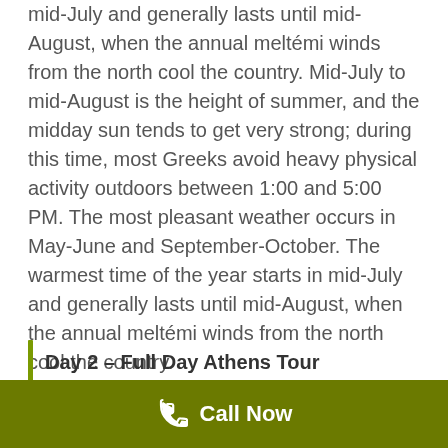mid-July and generally lasts until mid-August, when the annual meltémi winds from the north cool the country. Mid-July to mid-August is the height of summer, and the midday sun tends to get very strong; during this time, most Greeks avoid heavy physical activity outdoors between 1:00 and 5:00 PM. The most pleasant weather occurs in May-June and September-October. The warmest time of the year starts in mid-July and generally lasts until mid-August, when the annual meltémi winds from the north cool the country.
Day 2 – Full Day Athens Tour
[Figure (photo): Partial photo of Athens or Greek scenery, partially visible at bottom of page]
Call Now